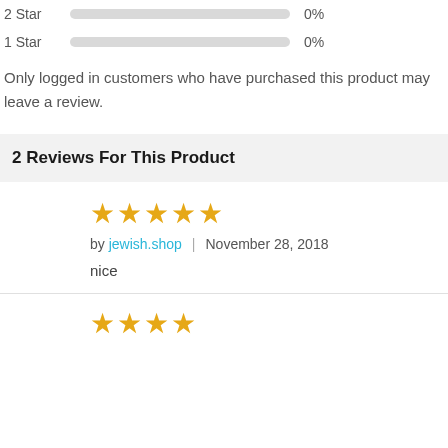2 Star  0%
1 Star  0%
Only logged in customers who have purchased this product may leave a review.
2 Reviews For This Product
[Figure (other): 5 gold stars rating]
by jewish.shop  |  November 28, 2018
nice
[Figure (other): 4 gold stars rating (partially visible at bottom)]